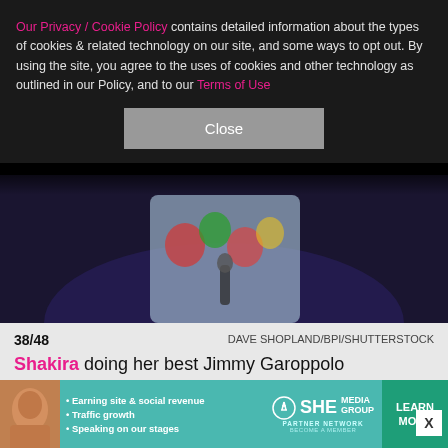Our Privacy / Cookie Policy contains detailed information about the types of cookies & related technology on our site, and some ways to opt out. By using the site, you agree to the uses of cookies and other technology as outlined in our Policy, and to our Terms of Use
[Figure (screenshot): Close button (gray) for cookie banner]
[Figure (photo): Photo of performer on stage with floral outfit, partial view, dark background]
38/48    DAVE SHOPLAND/BPI/SHUTTERSTOCK
Shakira doing her best Jimmy Garoppolo impression.
[Figure (photo): Photo of a man on stage at Sundance Film Festival 2024, dark blue background with festival branding]
[Figure (infographic): SHE Partner Network advertisement banner: Earning site & social revenue, Traffic growth, Speaking on our stages. LEARN MORE button.]